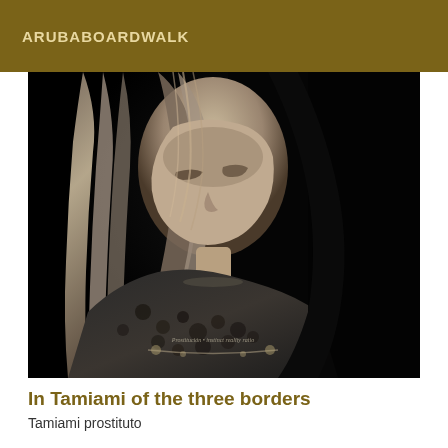ARUBABOARDWALK
[Figure (photo): Black and white portrait photograph of a young woman with long straight hair, looking downward, wearing a patterned dark top. The image is moody and dramatic with a dark background. Small decorative text overlay visible near the bottom center of the image.]
In Tamiami of the three borders
Tamiami prostituto